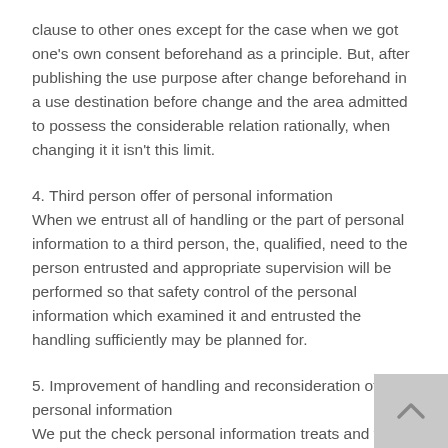clause to other ones except for the case when we got one's own consent beforehand as a principle. But, after publishing the use purpose after change beforehand in a use destination before change and the area admitted to possess the considerable relation rationally, when changing it it isn't this limit.
4. Third person offer of personal information
When we entrust all of handling or the part of personal information to a third person, the, qualified, need to the person entrusted and appropriate supervision will be performed so that safety control of the personal information which examined it and entrusted the handling sufficiently may be planned for.
5. Improvement of handling and reconsideration of personal information
We put the check personal information treats and with which is concerned in a control system and a match into effect, and improve and reconsider continually.